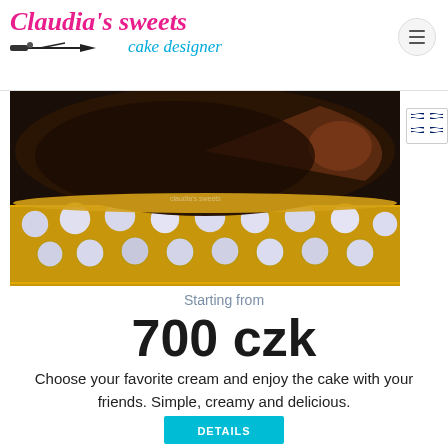[Figure (logo): Claudia's sweets cake designer logo with airbrush illustration in pink and blue italic script]
[Figure (photo): Close-up photo of a cake on a decorative gold and crystal rhinestone cake stand, showing chocolate cake with ganache and a jeweled base]
Starting from
700 czk
Choose your favorite cream and enjoy the cake with your friends. Simple, creamy and delicious.
DETAILS